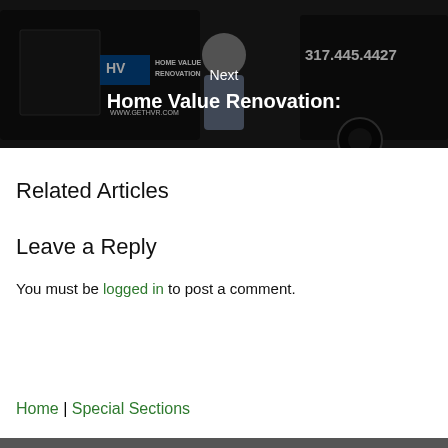[Figure (photo): Photo of a man standing in front of a black Home Value Renovation vehicle with phone number 317.445.4427 and website www.gethvr.com visible. Image is darkened with overlay text.]
Next
Home Value Renovation:
Related Articles
Leave a Reply
You must be logged in to post a comment.
Home | Special Sections